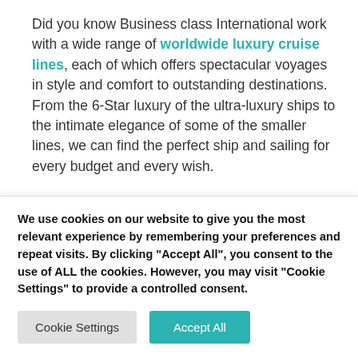Did you know Business class International work with a wide range of worldwide luxury cruise lines, each of which offers spectacular voyages in style and comfort to outstanding destinations. From the 6-Star luxury of the ultra-luxury ships to the intimate elegance of some of the smaller lines, we can find the perfect ship and sailing for every budget and every wish.

Book your cruise with your Business Class Flights with…
We use cookies on our website to give you the most relevant experience by remembering your preferences and repeat visits. By clicking "Accept All", you consent to the use of ALL the cookies. However, you may visit "Cookie Settings" to provide a controlled consent.